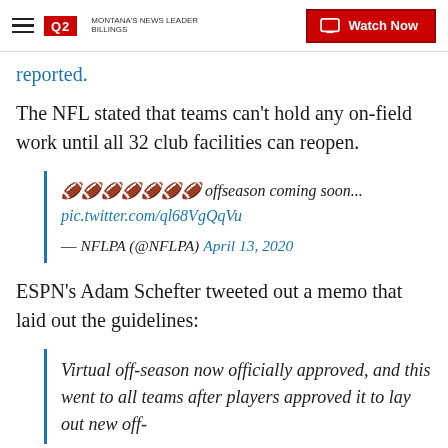Q2 Montana's News Leader | Watch Now
reported.
The NFL stated that teams can't hold any on-field work until all 32 club facilities can reopen.
🏈🏈🏈🏈🏈🏈🏈 offseason coming soon... pic.twitter.com/ql68VgQqVu — NFLPA (@NFLPA) April 13, 2020
ESPN's Adam Schefter tweeted out a memo that laid out the guidelines:
Virtual off-season now officially approved, and this went to all teams after players approved it to lay out new off-